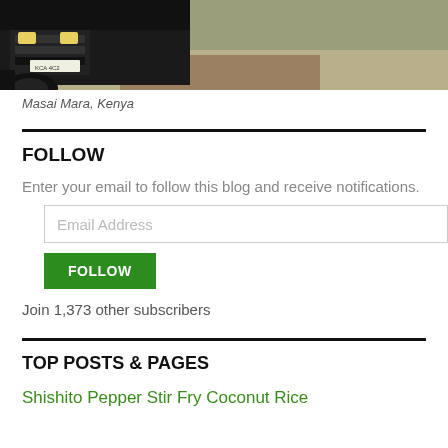[Figure (photo): Partial view of the underside/front of a 4WD truck on a dirt road with dry grass in the background. Taken in Masai Mara, Kenya.]
Masai Mara, Kenya
FOLLOW
Enter your email to follow this blog and receive notifications.
Email Address
FOLLOW
Join 1,373 other subscribers
TOP POSTS & PAGES
Shishito Pepper Stir Fry Coconut Rice